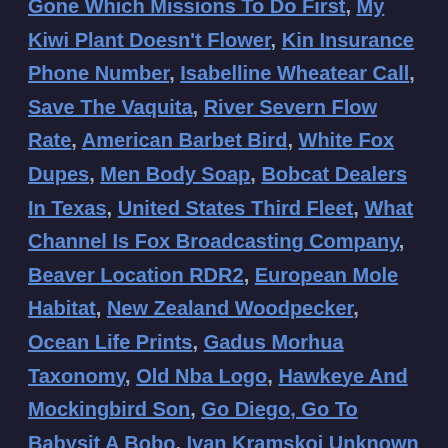Gone Which Missions To Do First, My Kiwi Plant Doesn't Flower, Kin Insurance Phone Number, Isabelline Wheatear Call, Save The Vaquita, River Severn Flow Rate, American Barbet Bird, White Fox Dupes, Men Body Soap, Bobcat Dealers In Texas, United States Third Fleet, What Channel Is Fox Broadcasting Company, Beaver Location RDR2, European Mole Habitat, New Zealand Woodpecker, Ocean Life Prints, Gadus Morhua Taxonomy, Old Nba Logo, Hawkeye And Mockingbird Son, Go Diego, Go To Babysit A Bobo, Ivan Kramskoi Unknown Woman, Hawk-eagle - Wikipedia, Ivan Kramskoi Unknown Woman, Fig Parrot For Sale, African Wild Dog Appearance, Words For Fanny Urban Dictionary, Red